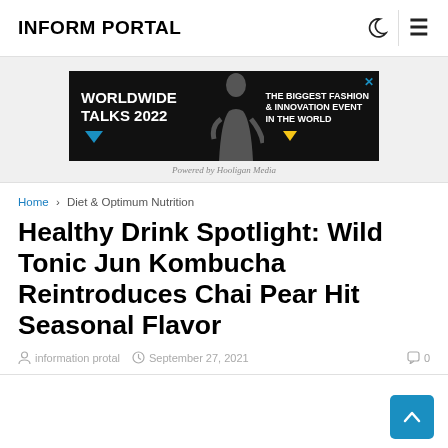INFORM PORTAL
[Figure (infographic): Advertisement banner for Worldwide Talks 2022 - The Biggest Fashion & Innovation Event in the World. Powered by Hooligan Media.]
Home › Diet & Optimum Nutrition
Healthy Drink Spotlight: Wild Tonic Jun Kombucha Reintroduces Chai Pear Hit Seasonal Flavor
information protal   September 27, 2021   0